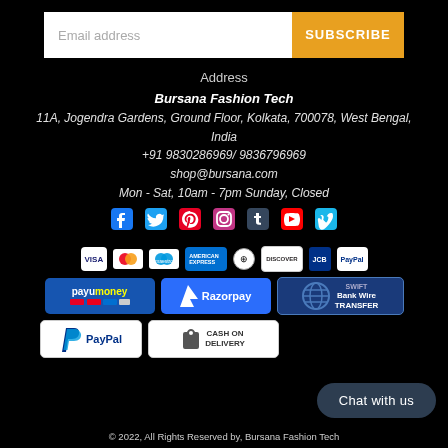[Figure (screenshot): Email address input box with SUBSCRIBE button in orange]
Address
Bursana Fashion Tech
11A, Jogendra Gardens, Ground Floor, Kolkata, 700078, West Bengal, India
+91 9830286969/ 9836796969
shop@bursana.com
Mon - Sat, 10am - 7pm Sunday, Closed
[Figure (infographic): Social media icons row: Facebook, Twitter, Pinterest, Instagram, Tumblr, YouTube, Vimeo]
[Figure (infographic): Payment method icons: VISA, Mastercard, Maestro, Amex, Diners, Discover, JCB, PayPal]
[Figure (infographic): Payment logos: PayUmoney, Razorpay, Swift Bank Wire Transfer, PayPal, Cash on Delivery]
Chat with us
© 2022, All Rights Reserved by, Bursana Fashion Tech